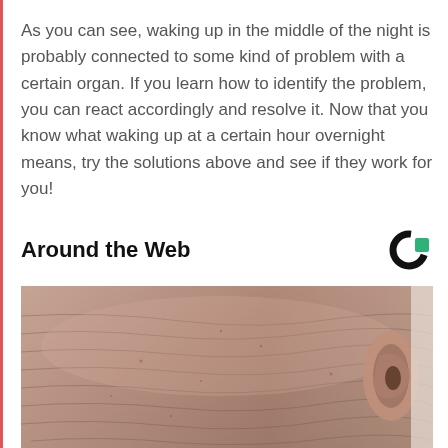As you can see, waking up in the middle of the night is probably connected to some kind of problem with a certain organ. If you learn how to identify the problem, you can react accordingly and resolve it. Now that you know what waking up at a certain hour overnight means, try the solutions above and see if they work for you!
Around the Web
[Figure (photo): Close-up photo of elderly skin showing deep wrinkles and creases, with an ear visible on the right side. The skin has a pinkish-beige tone with detailed texture.]